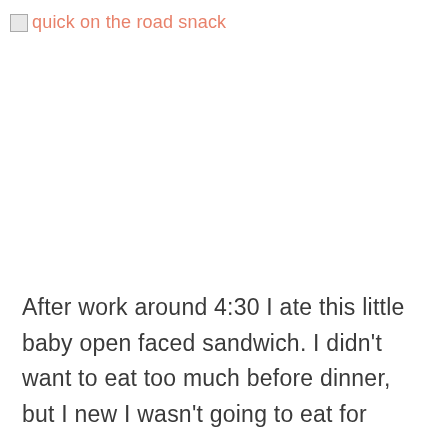quick on the road snack
After work around 4:30 I ate this little baby open faced sandwich. I didn't want to eat too much before dinner, but I new I wasn't going to eat for